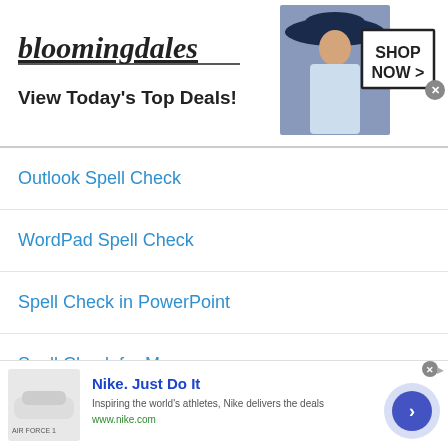[Figure (screenshot): Bloomingdale's advertisement banner showing logo, 'View Today's Top Deals!' tagline, a model with a large hat, and a 'SHOP NOW >' button]
Outlook Spell Check
WordPad Spell Check
Spell Check in PowerPoint
Spell Check for Mac
Privacy Policy
© 2011-2022 DomainOptions, Inc. Trademarks belong to their
[Figure (screenshot): Nike advertisement: 'Nike. Just Do It' with image of Air Force 1 shoe, tagline 'Inspiring the world's athletes, Nike delivers the deals', www.nike.com, and a blue arrow button]